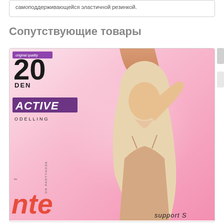самоподдерживающейся эластичной резинкой.
Сопутствующие товары
[Figure (photo): Product packaging image for hosiery: Innamore brand, 20 DEN, Active Modelling pantyhose. Pink background with blonde female model. Purple badge with 'original quality'. Large purple ACTIVE label. Brand logo in red italic script at bottom left. Text 'support S' at bottom right.]